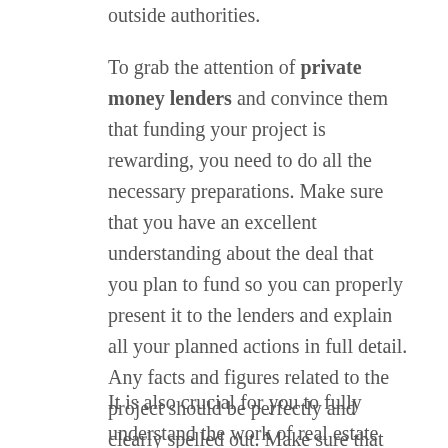outside authorities.
To grab the attention of private money lenders and convince them that funding your project is rewarding, you need to do all the necessary preparations. Make sure that you have an excellent understanding about the deal that you plan to fund so you can properly present it to the lenders and explain all your planned actions in full detail. Any facts and figures related to the project should be perfectly and clearly spelled out. Make sure that your presentations will leave no questions unanswered. Presenting pictures of the property is also essential. You also need to show the lenders a complete and detailed breakdown of the total cost of rehabbing the property.
It is also crucial for you to fully understand the work of real estate investors and the private money lenders themselves. You have to consider putting